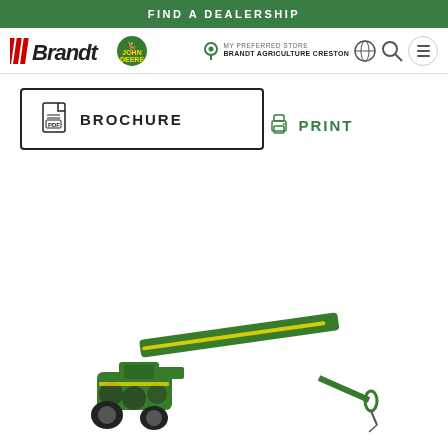FIND A DEALERSHIP
[Figure (logo): Brandt and John Deere logos in navigation bar with store locator showing 'MY PREFERRED STORE BRANDT AGRICULTURE CRESTON' and navigation icons]
BROCHURE
PRINT
[Figure (photo): John Deere green mower conditioner implement shown from the side, with a diagonal boom arm and mower head on the left with transport wheels, attached to a hitch on the right]